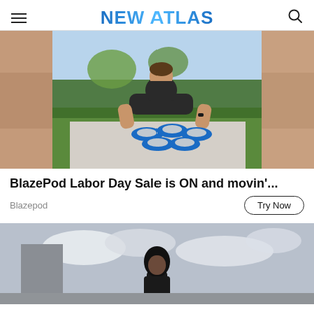NEW ATLAS
[Figure (photo): Man doing push-ups on blue disc-shaped workout pods on a concrete path outdoors, with green grass and trees in background. Blurred out-of-focus hands visible on left side.]
BlazePod Labor Day Sale is ON and movin'...
Blazepod
[Figure (photo): Black and white photo of a woman standing outdoors with cloudy sky in background, partial view at bottom of page.]